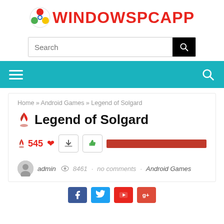WINDOWSPCAPP
Search
[Figure (logo): Navigation bar with hamburger menu icon on left and search icon on right, teal background]
Home » Android Games » Legend of Solgard
Legend of Solgard
545 votes, thumbs down and thumbs up buttons, vote bar
admin · 8461 views · no comments · Android Games
[Figure (other): Social share buttons: Facebook, Twitter, YouTube, Google+]